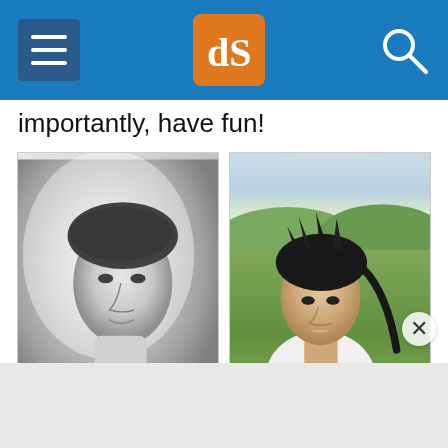[Figure (screenshot): Website navigation bar with hamburger menu icon on left, dPS logo (orange square with white 'dS' letters) in center, and search icon on right, all on blue background]
importantly, have fun!
[Figure (photo): Black and white portrait photograph of a woman with short pixie haircut, looking at camera with soft bokeh background. Watermark reads 'véronique da silva PHOTOGRAPHY']
[Figure (photo): Color photograph of a young Asian woman with short dark spiky hair in an outdoor setting with green trees and hills in background, wearing white off-shoulder top. Watermark reads 'véronique da silva PHOTOGRAPHY']